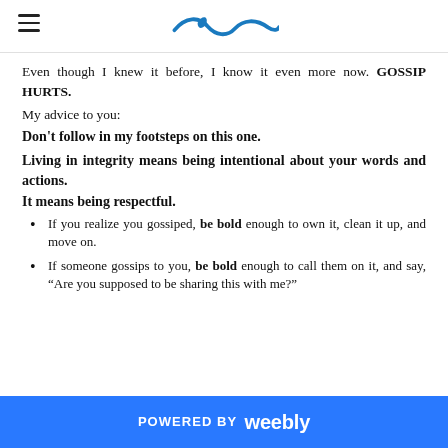[wave logo]
Even though I knew it before, I know it even more now. GOSSIP HURTS.
My advice to you:
Don't follow in my footsteps on this one.
Living in integrity means being intentional about your words and actions.
It means being respectful.
If you realize you gossiped, be bold enough to own it, clean it up, and move on.
If someone gossips to you, be bold enough to call them on it, and say, “Are you supposed to be sharing this with me?”
POWERED BY weebly